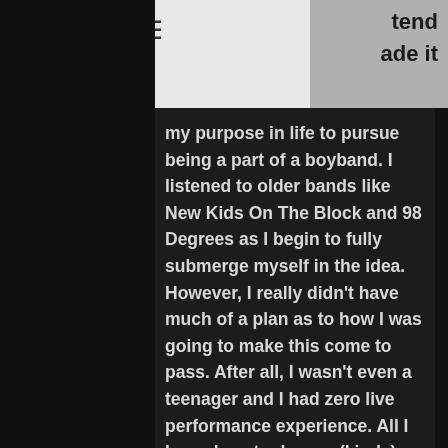tend
ade it
my purpose in life to pursue being a part of a boyband. I listened to older bands like New Kids On The Block and 98 Degrees as I begin to fully submerge myself in the idea. However, I really didn't have much of a plan as to how I was going to make this come to pass. After all, I wasn't even a teenager and I had zero live performance experience. All I knew how to do was (kinda) play the guitar and sing what was on the radio in the car. Soooo what did I do? Well, once we moved to North Carolina around the age of 14, I began taking vocal lessons and I joined a traveling church choir that my friends were in. I know I know